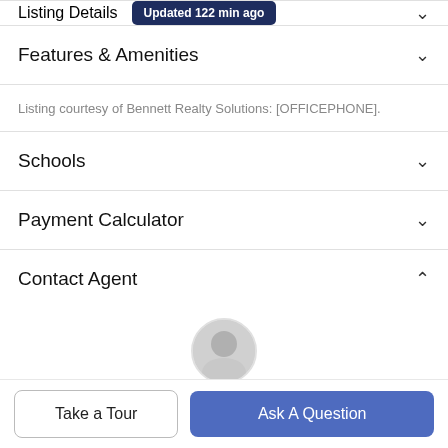Listing Details  Updated 122 min ago
Features & Amenities
Listing courtesy of Bennett Realty Solutions: [OFFICEPHONE].
Schools
Payment Calculator
Contact Agent
[Figure (photo): Agent profile photo thumbnail, partially visible at bottom of page]
Take a Tour
Ask A Question